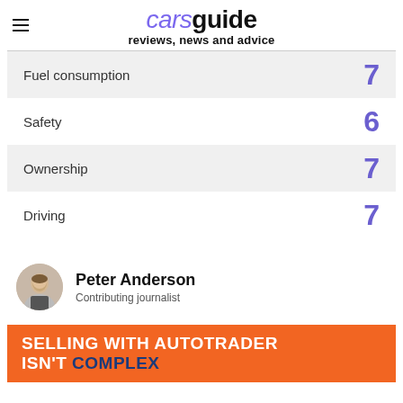carsguide reviews, news and advice
Fuel consumption 7
Safety 6
Ownership 7
Driving 7
Peter Anderson
Contributing journalist
SELLING WITH AUTOTRADER ISN'T COMPLEX